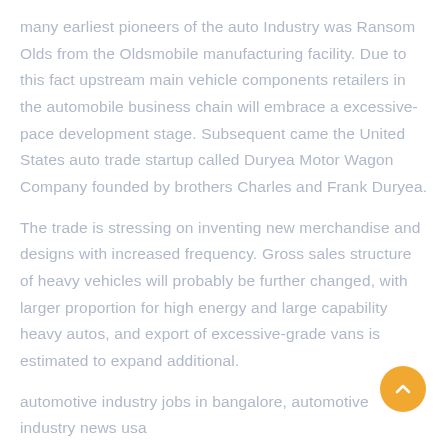many earliest pioneers of the auto Industry was Ransom Olds from the Oldsmobile manufacturing facility. Due to this fact upstream main vehicle components retailers in the automobile business chain will embrace a excessive-pace development stage. Subsequent came the United States auto trade startup called Duryea Motor Wagon Company founded by brothers Charles and Frank Duryea.
The trade is stressing on inventing new merchandise and designs with increased frequency. Gross sales structure of heavy vehicles will probably be further changed, with larger proportion for high energy and large capability heavy autos, and export of excessive-grade vans is estimated to expand additional.
automotive industry jobs in bangalore, automotive industry news usa
Many dealerships regard the automotive service supervisor as an integral a part of their business. That is.